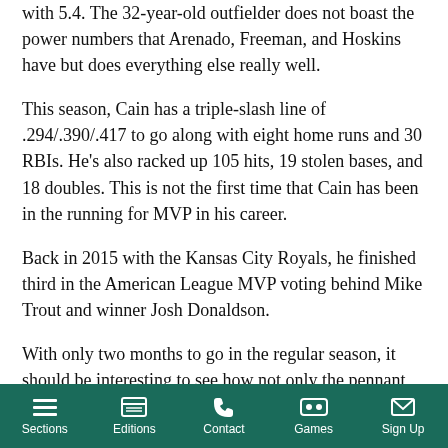with 5.4. The 32-year-old outfielder does not boast the power numbers that Arenado, Freeman, and Hoskins have but does everything else really well.
This season, Cain has a triple-slash line of .294/.390/.417 to go along with eight home runs and 30 RBIs. He's also racked up 105 hits, 19 stolen bases, and 18 doubles. This is not the first time that Cain has been in the running for MVP in his career.
Back in 2015 with the Kansas City Royals, he finished third in the American League MVP voting behind Mike Trout and winner Josh Donaldson.
With only two months to go in the regular season, it should be interesting to see how not only the pennant races but the award races shape up.
For all the potential MVP candidates, depending on how their
Sections | Editions | Contact | Games | Sign Up